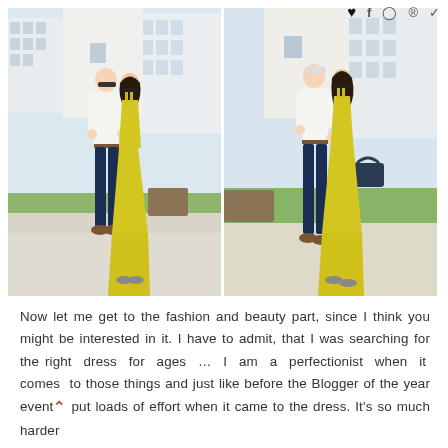[Figure (photo): Two side-by-side photos of a couple outdoors. Left photo: a man in white shirt and dark jeans with brown shoes stands next to a woman in a long yellow maxi dress with sunglasses. Modern apartment building and green lawn in background. Right photo: same couple from a slightly closer angle, woman now holding a dark blue handbag. Same outdoor setting.]
Now let me get to the fashion and beauty part, since I think you might be interested in it. I have to admit, that I was searching for the right dress for ages … I am a perfectionist when it comes to those things and just like before the Blogger of the year event put loads of effort when it came to the dress. It's so much harder